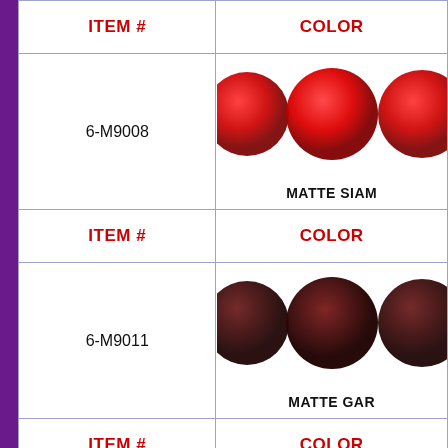| ITEM # | COLOR |
| --- | --- |
| 6-M9008 | MATTE SIAM |
| 6-M9011 | MATTE GAR... |
|  |  |